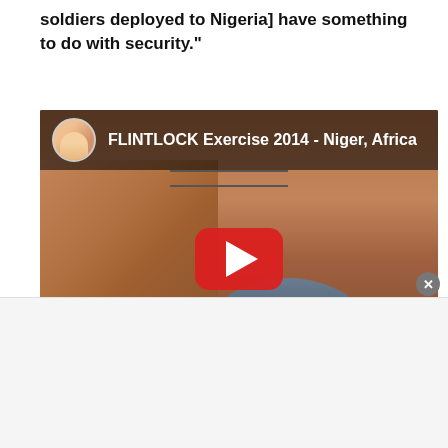soldiers deployed to Nigeria] have something to do with security."
[Figure (screenshot): YouTube video thumbnail showing a woman in military uniform outdoors near a wall with barbed wire. The video title reads 'FLINTLOCK Exercise 2014 - Niger, Africa' with a YouTube play button overlay. A small circular avatar of a blonde woman appears in the top-left corner of the video player.]